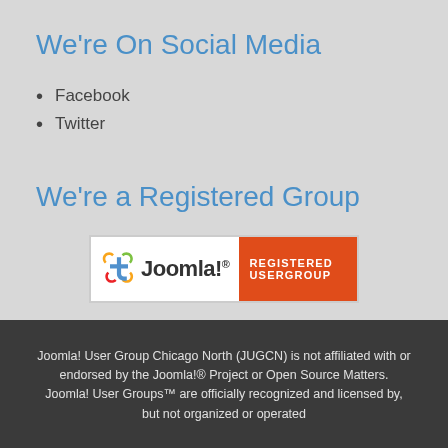We're On Social Media
Facebook
Twitter
We're a Registered Group
[Figure (logo): Joomla! Registered Usergroup badge with Joomla! logo on white background and red banner reading REGISTERED USERGROUP]
Joomla! User Group Chicago North (JUGCN) is not affiliated with or endorsed by the Joomla!® Project or Open Source Matters. Joomla! User Groups™ are officially recognized and licensed by, but not organized or operated